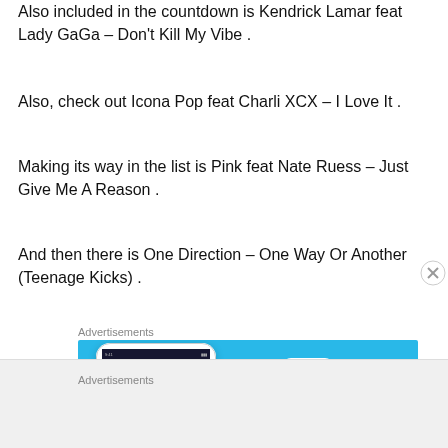Also included in the countdown is Kendrick Lamar feat Lady GaGa – Don't Kill My Vibe .
Also, check out Icona Pop feat Charli XCX – I Love It .
Making its way in the list is Pink feat Nate Ruess – Just Give Me A Reason .
And then there is One Direction – One Way Or Another (Teenage Kicks) .
Advertisements
[Figure (other): DayOne app advertisement banner with blue background, showing a smartphone with the app interface and the DayOne logo with bookmark icon]
Advertisements